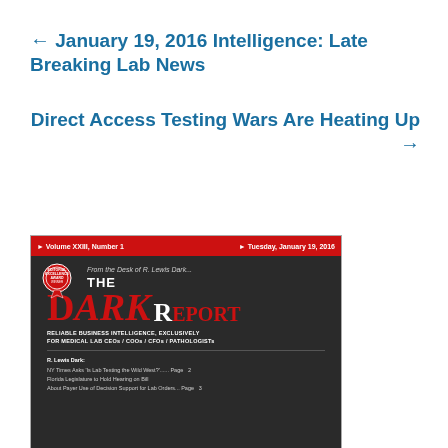← January 19, 2016 Intelligence: Late Breaking Lab News
Direct Access Testing Wars Are Heating Up →
[Figure (photo): Cover of The Dark Report magazine, Volume XXIII Number 1, Tuesday January 19, 2016. Red header bar, award badge, text 'From the Desk of R. Lewis Dark...' with THE DARK REPORT logo. Tagline: RELIABLE BUSINESS INTELLIGENCE, EXCLUSIVELY FOR MEDICAL LAB CEOs/COOs/CFOs/PATHOLOGISTs. Table of contents items including R. Lewis Dark: NY Times Asks 'Is Lab Testing the Wild West?', Florida Legislature to Hold Hearing on Bill About Payer Use of Decision Support for Lab Orders.]